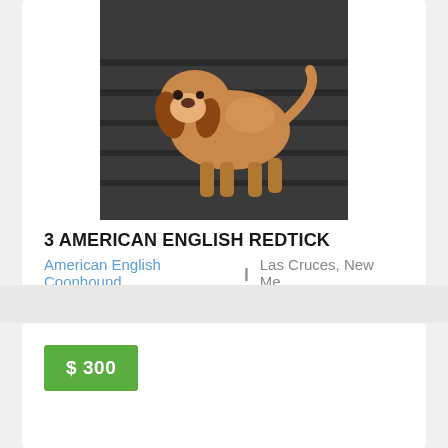[Figure (photo): Photo of a redtick coonhound puppy standing on a truck bed liner, warm brown and tan coloring]
3 AMERICAN ENGLISH REDTICK COONHOU...
American English Coonhound  ❙  Las Cruces, New Me...
$ 300